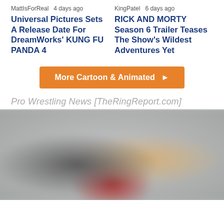MattIsForReal   4 days ago
Universal Pictures Sets A Release Date For DreamWorks' KUNG FU PANDA 4
KingPatel   6 days ago
RICK AND MORTY Season 6 Trailer Teases The Show's Wildest Adventures Yet
More Cartoon & Animated ▶
Pro Wrestling News [TheRingReport.com]
[Figure (photo): Blurred photo of two people, a man on the left and a blonde woman on the right, appearing to be wrestlers or entertainment figures, against a gray background.]